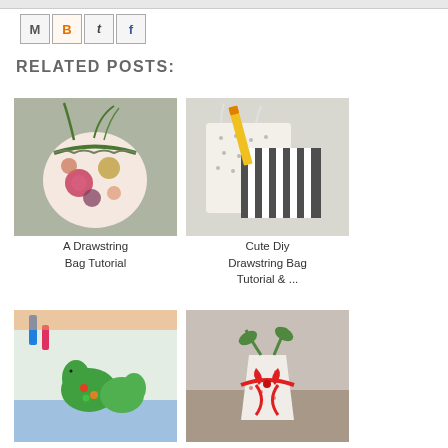[Figure (screenshot): Navigation bar at top of webpage]
[Figure (illustration): Social share icons: Email (M), Blogger (B), Twitter (t), Facebook (f)]
RELATED POSTS:
[Figure (photo): A colorful floral drawstring bag with green drawstring]
A Drawstring Bag Tutorial
[Figure (photo): A polka dot and striped drawstring bag with yellow pencil]
Cute Diy Drawstring Bag Tutorial & ...
[Figure (photo): Kids fabric bag with dinosaur applique]
[Figure (photo): White fabric drawstring bag with red ribbon]